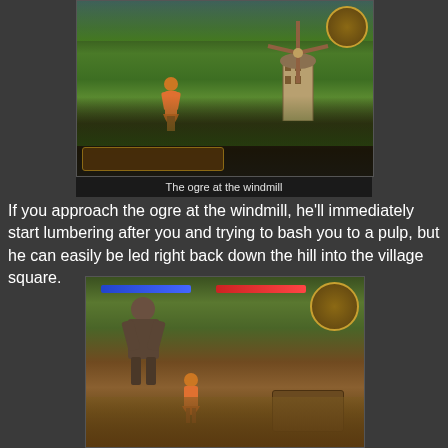[Figure (screenshot): Video game screenshot showing a character in orange running near a windmill, with game HUD visible at bottom-left and top-right corners. Lush green landscape with medieval windmill in background.]
The ogre at the windmill
If you approach the ogre at the windmill, he'll immediately start lumbering after you and trying to bash you to a pulp, but he can easily be led right back down the hill into the village square.
[Figure (screenshot): Video game screenshot showing a large ogre enemy facing the player character in a dirt path area with trees and a cart visible. Health bars visible at top, minimap at top-right.]